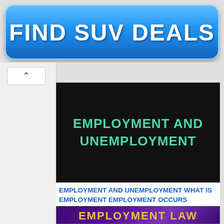[Figure (screenshot): Blue gradient button with white bold text reading FIND SUV DEALS — an advertisement banner]
[Figure (screenshot): Dark black slide thumbnail showing EMPLOYMENT AND UNEMPLOYMENT in teal/green bold uppercase text]
EMPLOYMENT AND UNEMPLOYMENT WHAT IS EMPLOYMENT EMPLOYMENT OCCURS
[Figure (screenshot): Purple gradient slide thumbnail with a pink horizontal line and partial yellow text reading EMPLOYMENT LAW at the bottom]